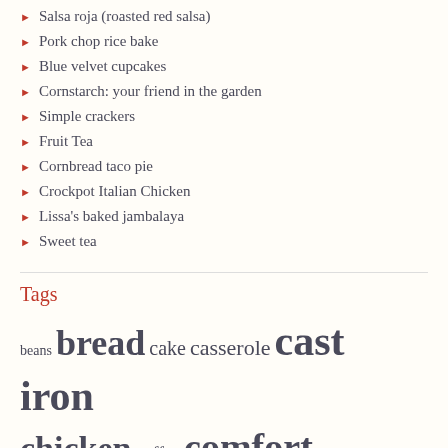Salsa roja (roasted red salsa)
Pork chop rice bake
Blue velvet cupcakes
Cornstarch: your friend in the garden
Simple crackers
Fruit Tea
Cornbread taco pie
Crockpot Italian Chicken
Lissa's baked jambalaya
Sweet tea
Tags
beans bread cake casserole cast iron chicken coffee comfort convenience cookies cupcakes dip eggs Fail fish football fruit